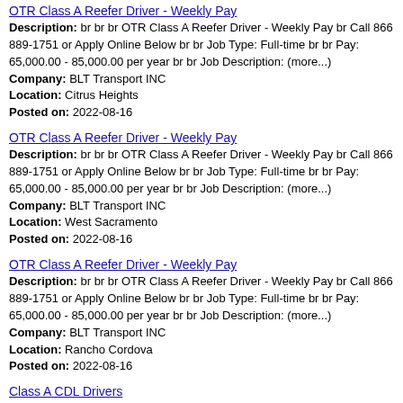OTR Class A Reefer Driver - Weekly Pay
Description: br br br OTR Class A Reefer Driver - Weekly Pay br Call 866 889-1751 or Apply Online Below br br Job Type: Full-time br br Pay: 65,000.00 - 85,000.00 per year br br Job Description: (more...) Company: BLT Transport INC Location: Citrus Heights Posted on: 2022-08-16
OTR Class A Reefer Driver - Weekly Pay
Description: br br br OTR Class A Reefer Driver - Weekly Pay br Call 866 889-1751 or Apply Online Below br br Job Type: Full-time br br Pay: 65,000.00 - 85,000.00 per year br br Job Description: (more...) Company: BLT Transport INC Location: West Sacramento Posted on: 2022-08-16
OTR Class A Reefer Driver - Weekly Pay
Description: br br br OTR Class A Reefer Driver - Weekly Pay br Call 866 889-1751 or Apply Online Below br br Job Type: Full-time br br Pay: 65,000.00 - 85,000.00 per year br br Job Description: (more...) Company: BLT Transport INC Location: Rancho Cordova Posted on: 2022-08-16
Class A CDL Drivers